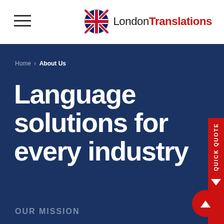[Figure (logo): London Translations logo with UK flag icon and wordmark 'LondonTranslations' where 'Translations' is in red]
Home › About Us
Language solutions for every industry
OUR MISSION